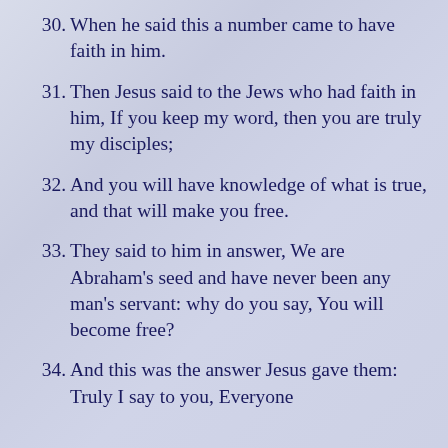30. When he said this a number came to have faith in him.
31. Then Jesus said to the Jews who had faith in him, If you keep my word, then you are truly my disciples;
32. And you will have knowledge of what is true, and that will make you free.
33. They said to him in answer, We are Abraham's seed and have never been any man's servant: why do you say, You will become free?
34. And this was the answer Jesus gave them: Truly I say to you, Everyone